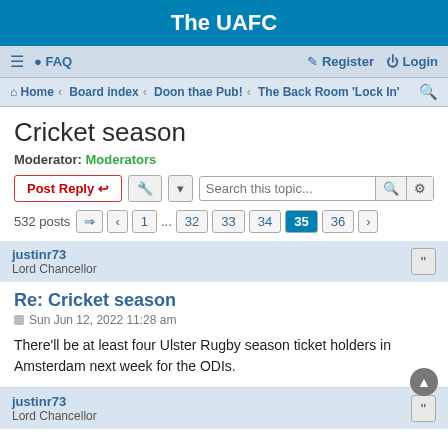The UAFC
≡  FAQ   Register  Login
Home · Board index · Doon thae Pub! · The Back Room 'Lock In'
Cricket season
Moderator: Moderators
Post Reply  [tools]  Search this topic...  532 posts  1 ... 32 33 34 35 36
justinr73
Lord Chancellor
Re: Cricket season
Sun Jun 12, 2022 11:28 am
There'll be at least four Ulster Rugby season ticket holders in Amsterdam next week for the ODIs.
justinr73
Lord Chancellor